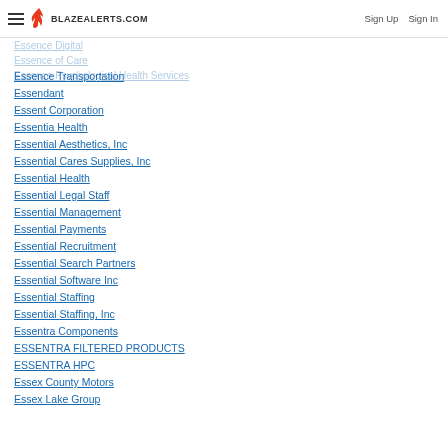BLAZEALERTS.COM | Sign Up | Sign In
Essence Digital
Essence of Care
Essence Psychological Health Services
Essence Transportation
Essendant
Essent Corporation
Essentia Health
Essential Aesthetics, Inc
Essential Cares Supplies, Inc
Essential Health
Essential Legal Staff
Essential Management
Essential Payments
Essential Recruitment
Essential Search Partners
Essential Software Inc
Essential Staffing
Essential Staffing, Inc
Essentra Components
ESSENTRA FILTERED PRODUCTS
ESSENTRA HPC
Essex County Motors
Essex Lake Group